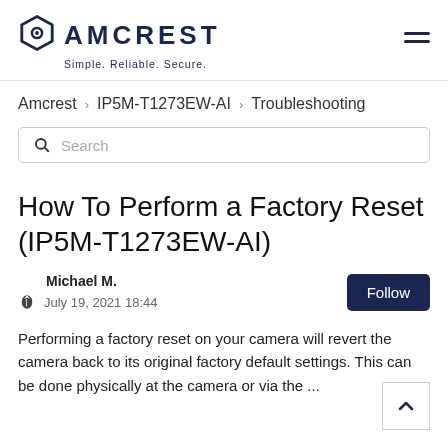AMCREST Simple. Reliable. Secure.
Amcrest > IP5M-T1273EW-AI > Troubleshooting
Search
How To Perform a Factory Reset (IP5M-T1273EW-AI)
Michael M.
July 19, 2021 18:44
Performing a factory reset on your camera will revert the camera back to its original factory default settings. This can be done physically at the camera or via the ...